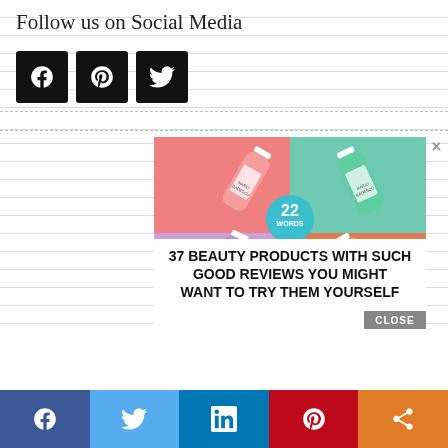Follow us on Social Media
[Figure (infographic): Three social media icon buttons (Facebook, Pinterest, Twitter) in black square boxes]
[Figure (infographic): Advertisement for '22 Words' article: '37 BEAUTY PRODUCTS WITH SUCH GOOD REVIEWS YOU MIGHT WANT TO TRY THEM YOURSELF' showing four Mario Badescu spray bottles on colorful backgrounds (pink, teal, purple, orange). Has a circular teal badge with '22 WORDS'. Has an X close button and a CLOSE button overlay.]
[Figure (infographic): Bottom social sharing bar with five buttons: Facebook (dark blue), Twitter (light blue), LinkedIn (dark blue), Pinterest (red), Share (orange)]